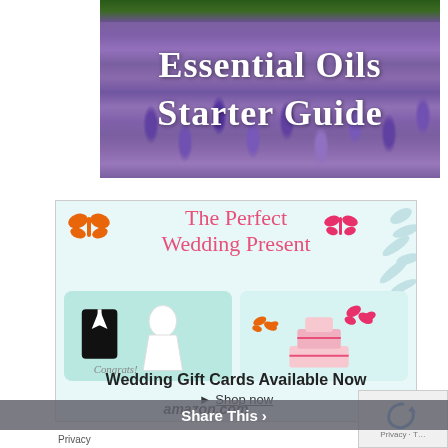[Figure (photo): Lavender field photograph with text overlay reading 'Essential Oils Starter Guide' in white serif font]
[Figure (infographic): Amazon wedding gift cards advertisement. Shows 'The Perfect Wedding Present' in pink text with decorative butterflies. Features two gift card images (one with tuxedo/bride dress and Congrats text, one with wedding cake and butterfly designs). Text reads 'Wedding Gift Cards Available Now' and '► Shop now' and 'amazon.com']
Share This ›
Privacy